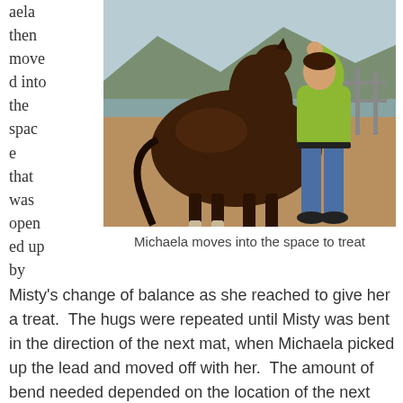aela then moved into the space that was opened up by
[Figure (photo): A woman in a yellow-green top and blue jeans reaching up to touch the head/neck area of a large dark brown horse in a sandy paddock. Mountains and water visible in the background.]
Michaela moves into the space to treat
Misty's change of balance as she reached to give her a treat. The hugs were repeated until Misty was bent in the direction of the next mat, when Michaela picked up the lead and moved off with her. The amount of bend needed depended on the location of the next mat and can be made more or less by the choice of mat to move to. Initially they chose mats that were easy to reach with a little bend but as Misty softened and